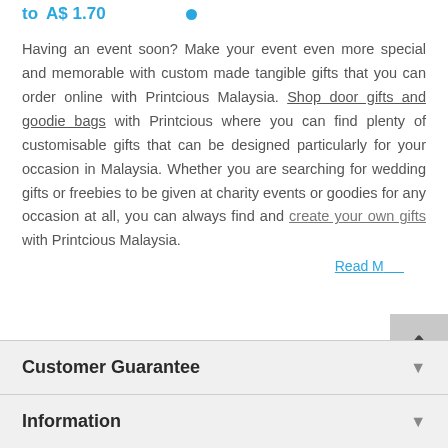to A$ 1.70 •
Having an event soon? Make your event even more special and memorable with custom made tangible gifts that you can order online with Printcious Malaysia. Shop door gifts and goodie bags with Printcious where you can find plenty of customisable gifts that can be designed particularly for your occasion in Malaysia. Whether you are searching for wedding gifts or freebies to be given at charity events or goodies for any occasion at all, you can always find and create your own gifts with Printcious Malaysia. Read More
Customer Guarantee
Information